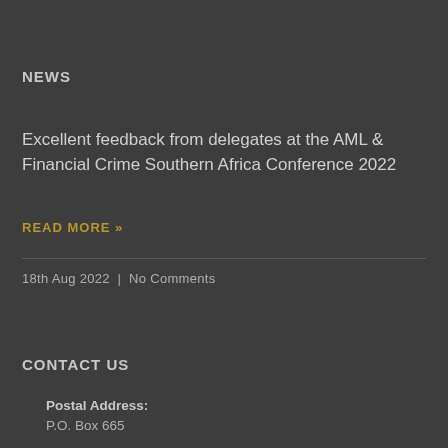NEWS
Excellent feedback from delegates at the AML & Financial Crime Southern Africa Conference 2022
READ MORE »
18th Aug 2022  |  No Comments
CONTACT US
Postal Address:
P.O. Box 665